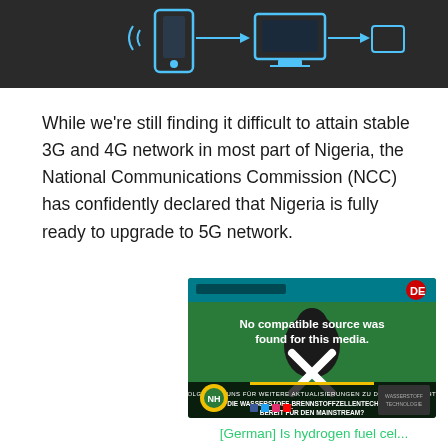[Figure (screenshot): Top portion of a technology infographic showing smartphone and monitor icons on dark background]
While we're still finding it difficult to attain stable 3G and 4G network in most part of Nigeria, the National Communications Commission (NCC) has confidently declared that Nigeria is fully ready to upgrade to 5G network.
[Figure (screenshot): Video thumbnail showing a person in front of a green background with text overlay 'No compatible source was found for this media.' and an X icon. Bottom banner shows German text about hydrogen fuel cell technology.]
[German] Is hydrogen fuel cel...